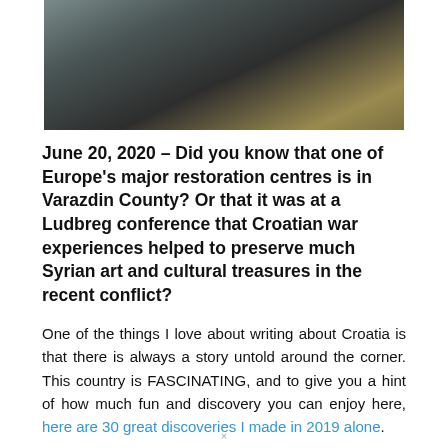[Figure (photo): A partial photograph showing a person in light clothing handling or examining something near bubble wrap or packing material with a yellowish object.]
June 20, 2020 - Did you know that one of Europe's major restoration centres is in Varazdin County? Or that it was at a Ludbreg conference that Croatian war experiences helped to preserve much Syrian art and cultural treasures in the recent conflict?
One of the things I love about writing about Croatia is that there is always a story untold around the corner. This country is FASCINATING, and to give you a hint of how much fun and discovery you can enjoy here, here are 30 great discoveries I made in 2019 alone.
×